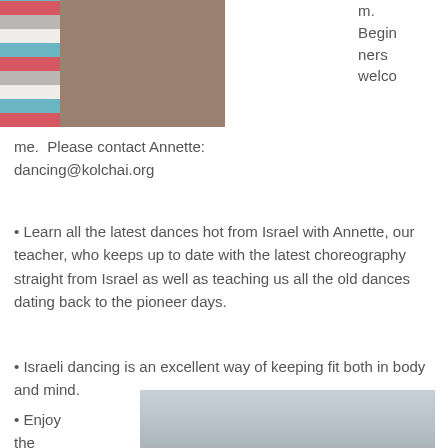[Figure (photo): People dancing in a circle or line, one person wearing a colorful striped top, another in white, photographed indoors.]
m. Beginners welcome.  Please contact Annette: dancing@kolchai.org
• Learn all the latest dances hot from Israel with Annette, our teacher, who keeps up to date with the latest choreography straight from Israel as well as teaching us all the old dances dating back to the pioneer days.
• Israeli dancing is an excellent way of keeping fit both in body and mind.
• Enjoy the beautiful music
[Figure (photo): Group of people dancing in a large circle holding hands in an indoor hall, Israeli folk dancing session.]